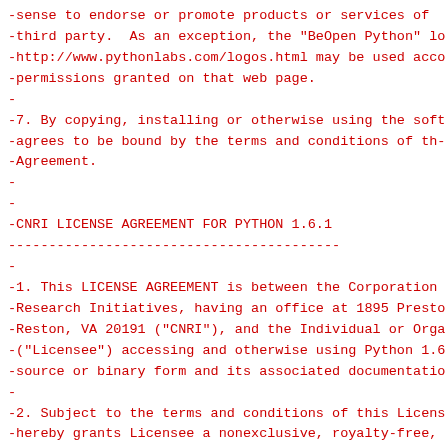-sense to endorse or promote products or services of -third party.  As an exception, the "BeOpen Python" lo -http://www.pythonlabs.com/logos.html may be used acco -permissions granted on that web page. - -7. By copying, installing or otherwise using the soft -agrees to be bound by the terms and conditions of th- -Agreement. - - -CNRI LICENSE AGREEMENT FOR PYTHON 1.6.1 ----------------------------------------- - -1. This LICENSE AGREEMENT is between the Corporation -Research Initiatives, having an office at 1895 Presto -Reston, VA 20191 ("CNRI"), and the Individual or Orga -("Licensee") accessing and otherwise using Python 1.6 -source or binary form and its associated documentatio - -2. Subject to the terms and conditions of this Licens -hereby grants Licensee a nonexclusive, royalty-free, -license to reproduce, analyze, test, perform and/or c